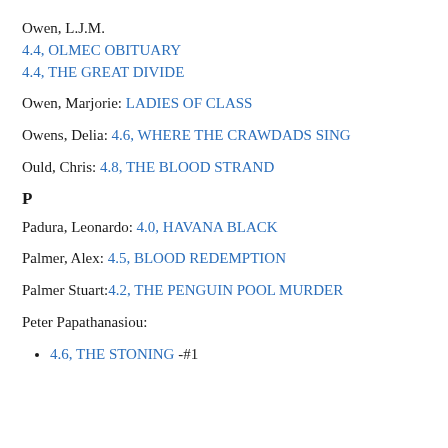Owen, L.J.M.
4.4, OLMEC OBITUARY
4.4, THE GREAT DIVIDE
Owen, Marjorie: LADIES OF CLASS
Owens, Delia: 4.6, WHERE THE CRAWDADS SING
Ould, Chris: 4.8, THE BLOOD STRAND
P
Padura, Leonardo: 4.0, HAVANA BLACK
Palmer, Alex: 4.5, BLOOD REDEMPTION
Palmer Stuart:4.2, THE PENGUIN POOL MURDER
Peter Papathanasiou:
4.6, THE STONING -#1